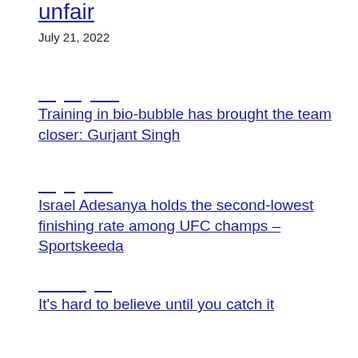unfair
July 21, 2022
— — ——
Training in bio-bubble has brought the team closer: Gurjant Singh
— — ——
Israel Adesanya holds the second-lowest finishing rate among UFC champs – Sportskeeda
———— ——
It's hard to believe until you catch it